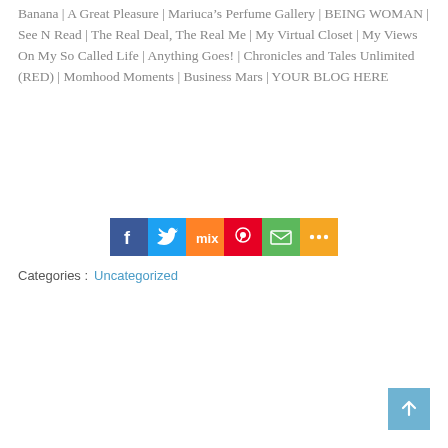Banana | A Great Pleasure | Mariuca's Perfume Gallery | BEING WOMAN | See N Read | The Real Deal, The Real Me | My Virtual Closet | My Views On My So Called Life | Anything Goes! | Chronicles and Tales Unlimited (RED) | Momhood Moments | Business Mars | YOUR BLOG HERE
[Figure (infographic): Social sharing buttons: Facebook (blue), Twitter (light blue), Mix (orange), Pinterest (red), Email (green), More (orange)]
Categories :  Uncategorized